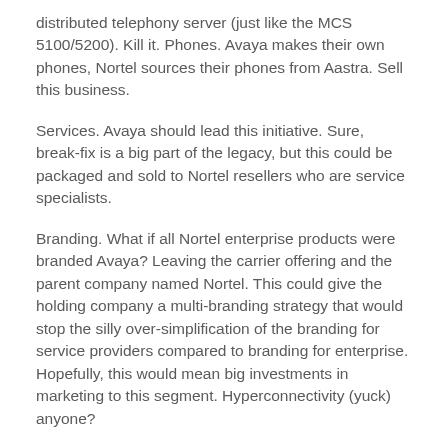distributed telephony server (just like the MCS 5100/5200). Kill it. Phones. Avaya makes their own phones, Nortel sources their phones from Aastra. Sell this business.
Services. Avaya should lead this initiative. Sure, break-fix is a big part of the legacy, but this could be packaged and sold to Nortel resellers who are service specialists.
Branding. What if all Nortel enterprise products were branded Avaya? Leaving the carrier offering and the parent company named Nortel. This could give the holding company a multi-branding strategy that would stop the silly over-simplification of the branding for service providers compared to branding for enterprise. Hopefully, this would mean big investments in marketing to this segment. Hyperconnectivity (yuck) anyone?
Sales Management. Surely, integrating overlapping